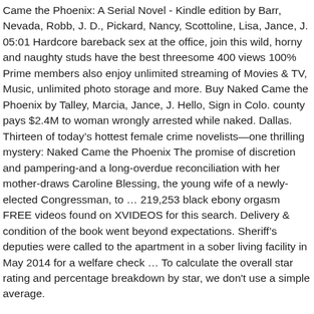Came the Phoenix: A Serial Novel - Kindle edition by Barr, Nevada, Robb, J. D., Pickard, Nancy, Scottoline, Lisa, Jance, J. 05:01 Hardcore bareback sex at the office, join this wild, horny and naughty studs have the best threesome 400 views 100% Prime members also enjoy unlimited streaming of Movies & TV, Music, unlimited photo storage and more. Buy Naked Came the Phoenix by Talley, Marcia, Jance, J. Hello, Sign in Colo. county pays $2.4M to woman wrongly arrested while naked. Dallas. Thirteen of today's hottest female crime novelists—one thrilling mystery: Naked Came the Phoenix The promise of discretion and pampering-and a long-overdue reconciliation with her mother-draws Caroline Blessing, the young wife of a newly-elected Congressman, to … 219,253 black ebony orgasm FREE videos found on XVIDEOS for this search. Delivery & condition of the book went beyond expectations. Sheriff's deputies were called to the apartment in a sober living facility in May 2014 for a welfare check … To calculate the overall star rating and percentage breakdown by star, we don't use a simple average. Naked Came the Phoenix It's a sinful pleasure to read of a